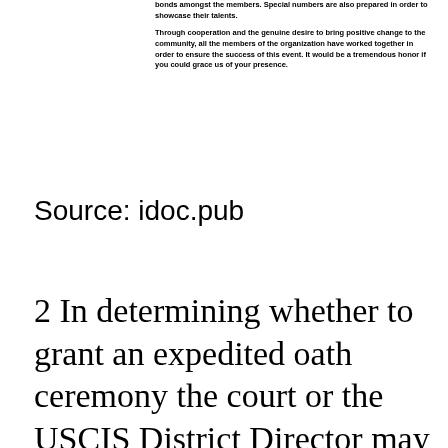bonds amongst the members. Special numbers are also prepared in order to showcase their talents.

Through cooperation and the genuine desire to bring positive change to the community, all the members of the organization have worked together in order to ensure the success of this event. It would be a tremendous honor if you could grace us of your presence.
Source: idoc.pub
2 In determining whether to grant an expedited oath ceremony the court or the USCIS District Director may consider special circumstances of a compelling or humanitarian nature. Immigrants at a swearing in ceremony – oath ceremony